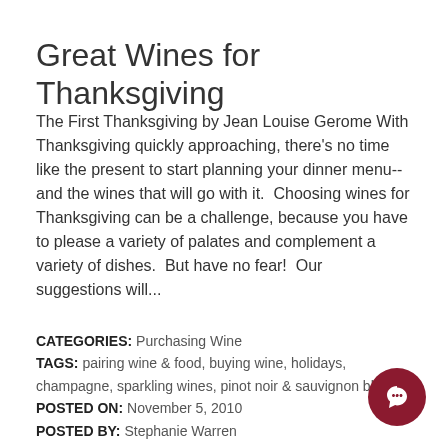Great Wines for Thanksgiving
The First Thanksgiving by Jean Louise Gerome With Thanksgiving quickly approaching, there's no time like the present to start planning your dinner menu--and the wines that will go with it.  Choosing wines for Thanksgiving can be a challenge, because you have to please a variety of palates and complement a variety of dishes.  But have no fear!  Our suggestions will...
CATEGORIES: Purchasing Wine
TAGS: pairing wine & food, buying wine, holidays, champagne, sparkling wines, pinot noir & sauvignon blanc
POSTED ON: November 5, 2010
POSTED BY: Stephanie Warren